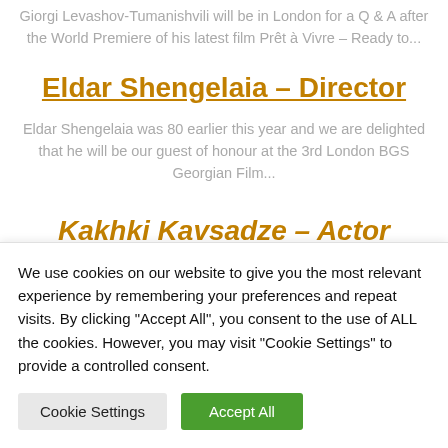Giorgi Levashov-Tumanishvili will be in London for a Q & A after the World Premiere of his latest film Prêt à Vivre – Ready to...
Eldar Shengelaia – Director
Eldar Shengelaia was 80 earlier this year and we are delighted that he will be our guest of honour at the 3rd London BGS Georgian Film...
Kakhki Kavsadze – Actor
We use cookies on our website to give you the most relevant experience by remembering your preferences and repeat visits. By clicking "Accept All", you consent to the use of ALL the cookies. However, you may visit "Cookie Settings" to provide a controlled consent.